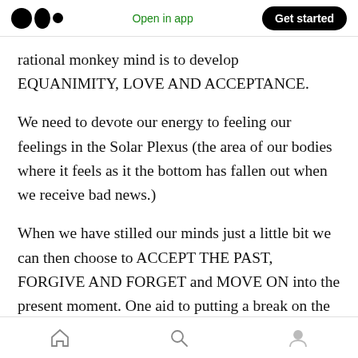Open in app | Get started
rational monkey mind is to develop EQUANIMITY, LOVE AND ACCEPTANCE.
We need to devote our energy to feeling our feelings in the Solar Plexus (the area of our bodies where it feels as it the bottom has fallen out when we receive bad news.)
When we have stilled our minds just a little bit we can then choose to ACCEPT THE PAST, FORGIVE AND FORGET and MOVE ON into the present moment. One aid to putting a break on the incessant chattering of the Rational Monkey
Home | Search | Profile